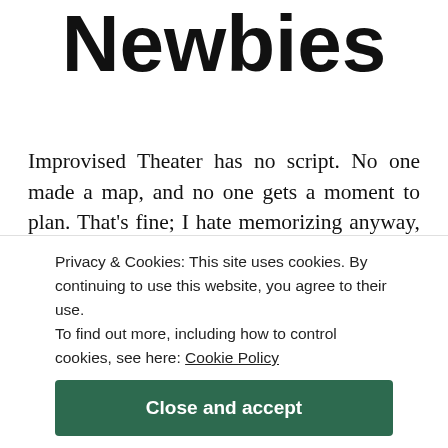Newbies
Improvised Theater has no script. No one made a map, and no one gets a moment to plan. That's fine; I hate memorizing anyway, but how the heck are we just going to make up a scene both worthy of doing and worthy of being watched? All we have to do is be funny, isn't that what improv is? That's where I came from when I got to my first improv class. I thought things about cracking jokes a lot because I was worried about getting laughs and I didn't really know about getting...
Privacy & Cookies: This site uses cookies. By continuing to use this website, you agree to their use.
To find out more, including how to control cookies, see here: Cookie Policy
Close and accept